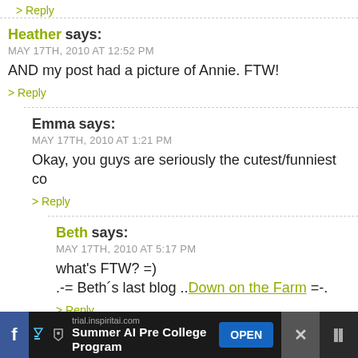> Reply
Heather says:
MAY 17TH, 2010 AT 12:52 PM
AND my post had a picture of Annie. FTW!
> Reply
Emma says:
MAY 17TH, 2010 AT 1:21 PM
Okay, you guys are seriously the cutest/funniest co
> Reply
Beth says:
MAY 17TH, 2010 AT 5:17 PM
what's FTW? =)
.-= Beth´s last blog ..Down on the Farm =-.
> Reply
trial.inspiritai.com
Summer AI Pre College Program